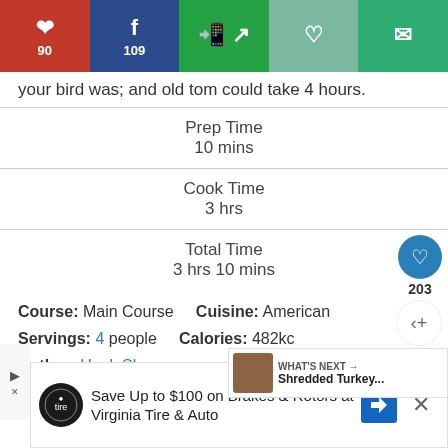Pinterest 90 | Facebook 109 | WhatsApp share | Heart | Email
your bird was; and old tom could take 4 hours.
| Label | Value |
| --- | --- |
| Prep Time | 10 mins |
| Cook Time | 3 hrs |
| Total Time | 3 hrs 10 mins |
Course: Main Course    Cuisine: American
Servings: 4 people    Calories: 482kcal
Author: Hank Shaw
Save Up to $100 on Brakes & Rotors at Virginia Tire & Auto